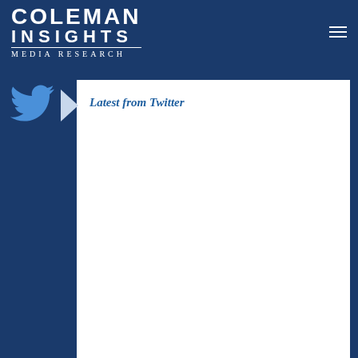COLEMAN INSIGHTS Media Research
Latest from Twitter